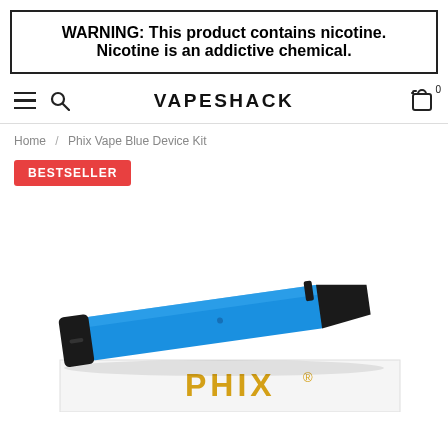WARNING: This product contains nicotine. Nicotine is an addictive chemical.
VAPESHACK
Home / Phix Vape Blue Device Kit
BESTSELLER
[Figure (photo): Blue Phix Vape Device Kit – a slim rectangular blue vape pen with black mouthpiece and end cap, resting on top of white product packaging showing 'PHIX' branding in gold/yellow letters.]